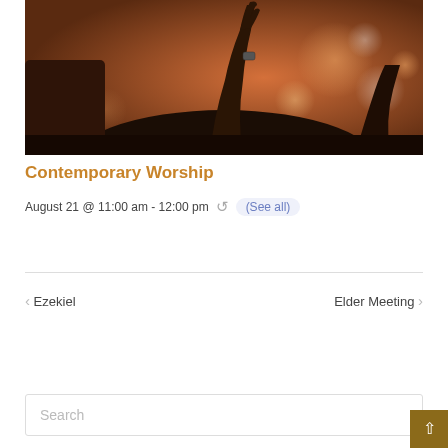[Figure (photo): A silhouette of a person raising their hand/arm at what appears to be a worship or concert event, with warm orange/brown bokeh lights in the background.]
Contemporary Worship
August 21 @ 11:00 am - 12:00 pm  (See all)
< Ezekiel   Elder Meeting >
Search